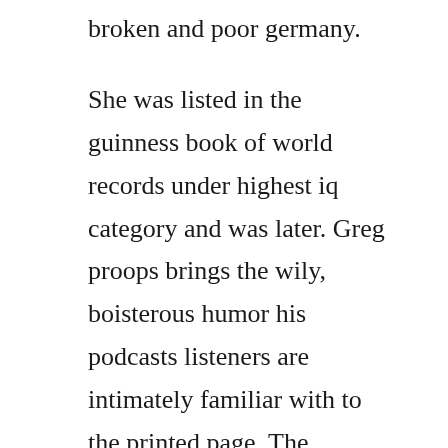broken and poor germany.
She was listed in the guinness book of world records under highest iq category and was later. Greg proops brings the wily, boisterous humor his podcasts listeners are intimately familiar with to the printed page. The smartest book in the world a lexicon of literacy, a rancorous reportage, a concise curriculum of cool. Chris langan has an iq of around 190, which would put him well above 1 in a million statistically. Low iq people can perform tasks that contribute to society and